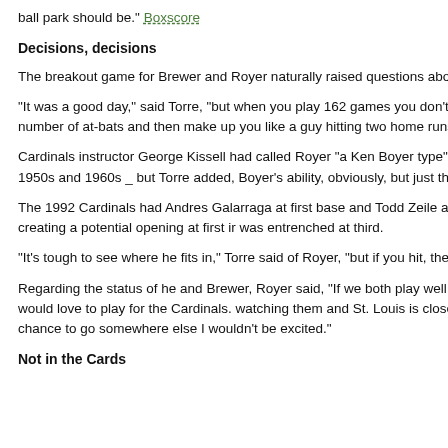ball park should be." Boxscore
Decisions, decisions
The breakout game for Brewer and Royer naturally raised questions about wh the Cardinals' plans for 1993.
“It was a good day,” said Torre, “but when you play 162 games you don’t get o about one day. You’ve got to watch a number of at-bats and then make up you like a guy hitting two home runs on Opening Day and thinking he’s going to hi
Cardinals instructor George Kissell had called Royer “a Ken Boyer type” _ refe Cardinals’ standout third baseman of the 1950s and 1960s _ but Torre added, Boyer’s ability, obviously, but just the way he carries himself.”
The 1992 Cardinals had Andres Galarraga at first base and Todd Zeile at third Galarraga was an impending free agent, creating a potential opening at first ir was entrenched at third.
“It’s tough to see where he fits in,” Torre said of Royer, “but if you hit, they will you.”
Regarding the status of he and Brewer, Royer said, “If we both play well, some happen. Somebody is going to want us. I would love to play for the Cardinals. watching them and St. Louis is close to my family (in Illinois), but I can’t say th chance to go somewhere else I wouldn’t be excited.”
Not in the Cards